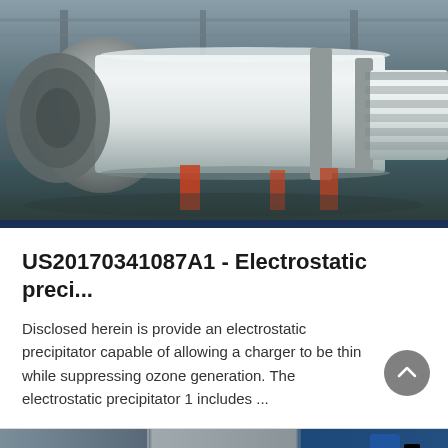[Figure (photo): Industrial electrostatic precipitator equipment — large cylindrical white pipe/tube assembly in a factory setting, viewed from the side showing the main cylindrical body with flanged connectors and support structures on a factory floor with green/grey background.]
US20170341087A1 - Electrostatic preci...
Disclosed herein is provide an electrostatic precipitator capable of allowing a charger to be thin while suppressing ozone generation. The electrostatic precipitator 1 includes ...
[Figure (photo): Partial view of industrial equipment in a factory — bottom portion of the page showing factory interior with equipment, partially cropped.]